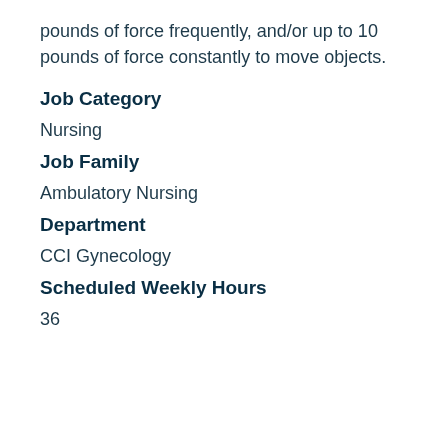pounds of force frequently, and/or up to 10 pounds of force constantly to move objects.
Job Category
Nursing
Job Family
Ambulatory Nursing
Department
CCI Gynecology
Scheduled Weekly Hours
36